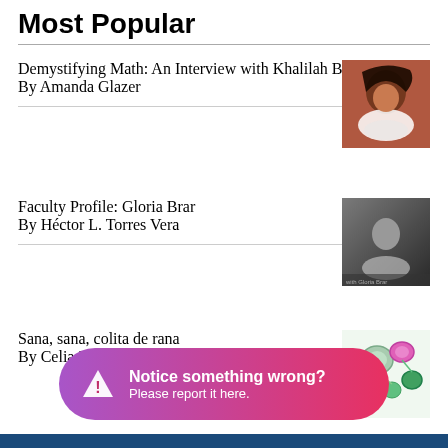Most Popular
Demystifying Math: An Interview with Khalilah Beal-Uribe
By Amanda Glazer
Faculty Profile: Gloria Brar
By Héctor L. Torres Vera
Sana, sana, colita de rana
By Celia Ford
Notice something wrong? Please report it here.